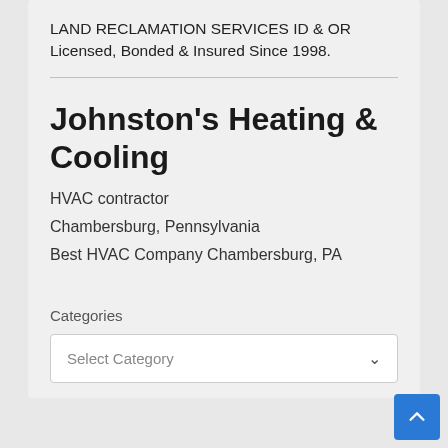LAND RECLAMATION SERVICES ID & OR
Licensed, Bonded & Insured Since 1998.
Johnston's Heating & Cooling
HVAC contractor
Chambersburg, Pennsylvania
Best HVAC Company Chambersburg, PA
Categories
Select Category